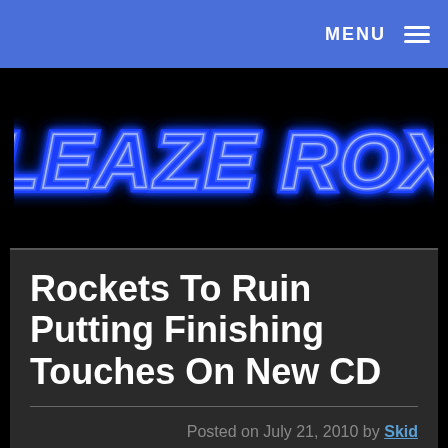MENU ≡
[Figure (logo): Sleaze Roxx neon blue glowing logo on black background]
Rockets To Ruin Putting Finishing Touches On New CD
Posted on July 21, 2010 by Skid